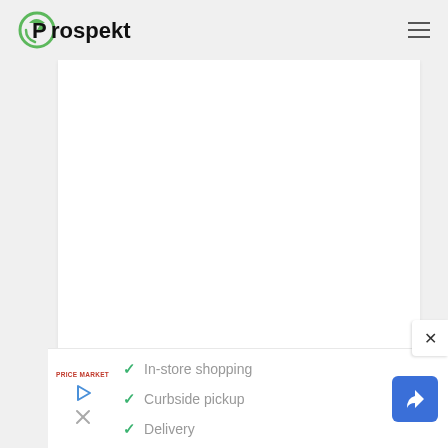[Figure (logo): Prospekt logo with green circular arrow icon and black text]
[Figure (screenshot): White blank content area in the center of the page]
[Figure (other): Close X button overlay on the right side]
[Figure (infographic): Advertisement banner showing Price Market logo with checkmarks for In-store shopping, Curbside pickup, Delivery, navigation arrow icon, play and close icons]